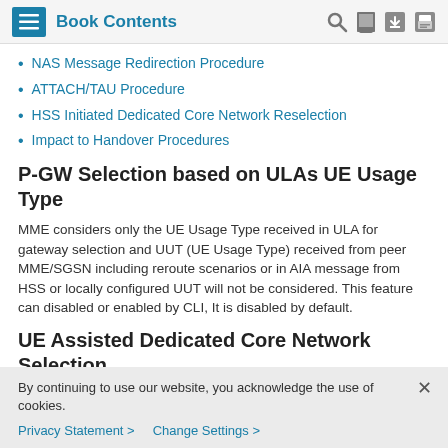Book Contents
NAS Message Redirection Procedure
ATTACH/TAU Procedure
HSS Initiated Dedicated Core Network Reselection
Impact to Handover Procedures
P-GW Selection based on ULAs UE Usage Type
MME considers only the UE Usage Type received in ULA for gateway selection and UUT (UE Usage Type) received from peer MME/SGSN including reroute scenarios or in AIA message from HSS or locally configured UUT will not be considered. This feature can disabled or enabled by CLI, It is disabled by default.
UE Assisted Dedicated Core Network Selection
By continuing to use our website, you acknowledge the use of cookies.
Privacy Statement > Change Settings >